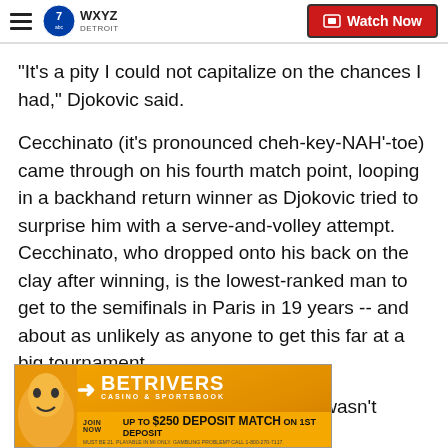WXYZ Detroit — Watch Now
"It's a pity I could not capitalize on the chances I had," Djokovic said.
Cecchinato (it's pronounced cheh-key-NAH'-toe) came through on his fourth match point, looping in a backhand return winner as Djokovic tried to surprise him with a serve-and-volley attempt. Cecchinato, who dropped onto his back on the clay after winning, is the lowest-ranked man to get to the semifinals in Paris in 19 years -- and about as unlikely as anyone to get this far at a big tournament.
Told in an on-court interview that he wasn't dreaming, Cecc
[Figure (other): BetRivers Casino & Sportsbook advertisement banner. JOIN NOW — UP TO $250 DEPOSIT MATCH ON 1ST DEPOSIT. Must be 21. Playable in MI only. Gambling problem? Call 1-800-270-7117.]